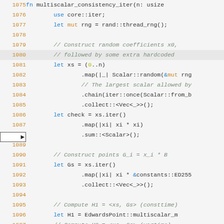[Figure (screenshot): Source code viewer showing Rust code lines 1075–1095 of a function multiscalar_consistency_iter. Line 1080 is highlighted with an arrow indicator on the left. Code includes variable bindings, iterator chains, and comments about constructing random coefficients and EC points.]